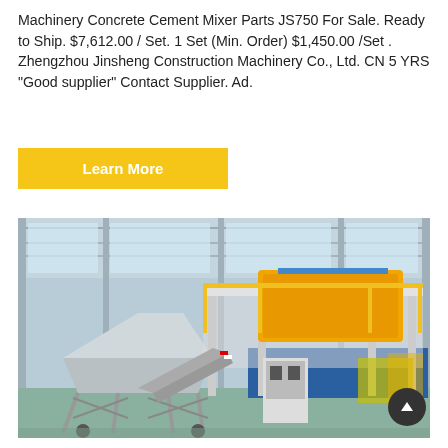Machinery Concrete Cement Mixer Parts JS750 For Sale. Ready to Ship. $7,612.00 / Set. 1 Set (Min. Order) $1,450.00 /Set . Zhengzhou Jinsheng Construction Machinery Co., Ltd. CN 5 YRS "Good supplier" Contact Supplier. Ad.
[Figure (other): Yellow call-to-action button labeled 'Learn More']
[Figure (photo): Industrial concrete cement mixer plant in a factory warehouse. Large white steel frame structure with a yellow concrete mixer unit elevated on a platform. Features conveyor belt, aggregate batching hopper on the left, and control box in the foreground. Yellow safety railings visible.]